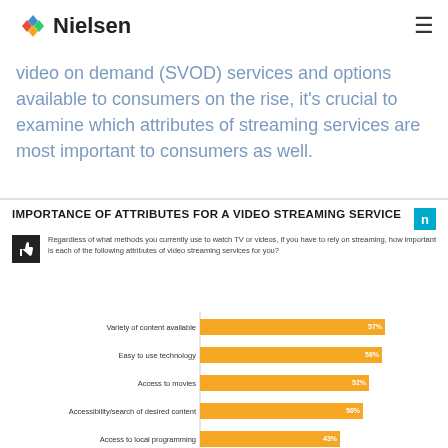Nielsen
also data have we think (SVOD) from they taken an ... streaming, too. With the number of streaming video on demand (SVOD) services and options available to consumers on the rise, it's crucial to examine which attributes of streaming services are most important to consumers as well.
IMPORTANCE OF ATTRIBUTES FOR A VIDEO STREAMING SERVICE
Regardless of what methods you currently use to watch TV or videos, if you have to rely on streaming, how important is each of the following attributes of video streaming services for you?
[Figure (bar-chart): Importance of Attributes for a Video Streaming Service]